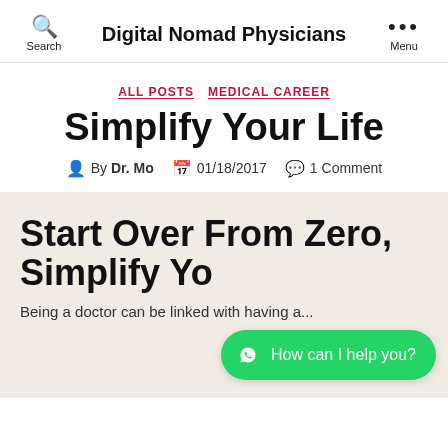Digital Nomad Physicians
ALL POSTS  MEDICAL CAREER
Simplify Your Life
By Dr. Mo  01/18/2017  1 Comment
Start Over From Zero, Simplify Yo...
Being a doctor can be linked with having a...